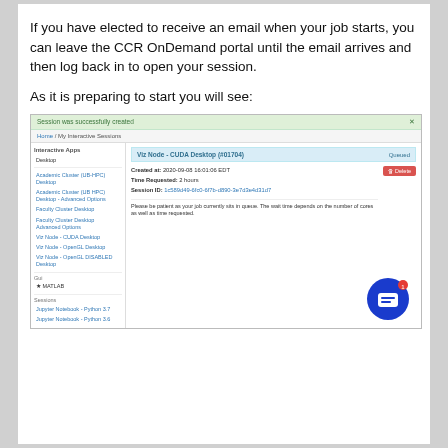If you have elected to receive an email when your job starts, you can leave the CCR OnDemand portal until the email arrives and then log back in to open your session.
As it is preparing to start you will see:
[Figure (screenshot): Screenshot of CCR OnDemand portal showing an interactive session for Viz Node - CUDA Desktop with status Queued, session ID, created at timestamp, time requested 2 hours, and a note about patience while job is in queue. Left sidebar shows Interactive Apps including Desktop, Academic Cluster options, Faculty Cluster options, Viz Node options, Gui section with MATLAB, and Sessions with Jupyter Notebooks.]